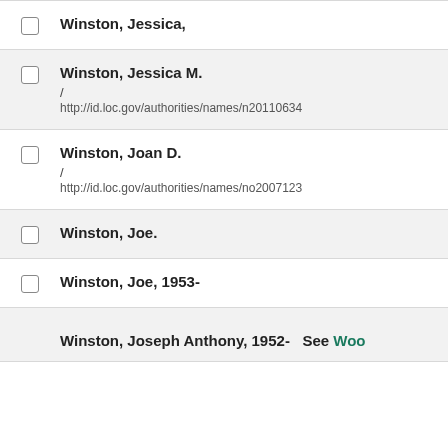Winston, Jessica,
Winston, Jessica M.
/
http://id.loc.gov/authorities/names/n20110634
Winston, Joan D.
/
http://id.loc.gov/authorities/names/no2007123
Winston, Joe.
Winston, Joe, 1953-
Winston, Joseph Anthony, 1952- See Woo